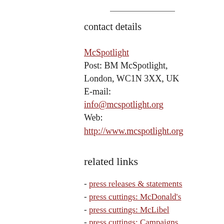contact details
McSpotlight
Post: BM McSpotlight, London, WC1N 3XX, UK
E-mail: info@mcspotlight.org
Web: http://www.mcspotlight.org
related links
- press releases & statements
- press cuttings: McDonald's
- press cuttings: McLibel
- press cuttings: Campaigns
- press cuttings: McLibel film
- press cuttings: related stuff
- The McLibel Trial
- witnesses statements, transcripts, evidence